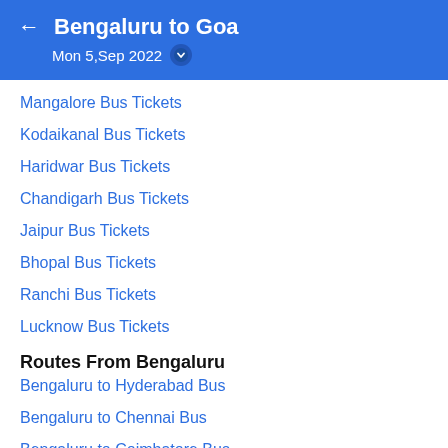Bengaluru to Goa
Mon 5,Sep 2022
Mangalore Bus Tickets
Kodaikanal Bus Tickets
Haridwar Bus Tickets
Chandigarh Bus Tickets
Jaipur Bus Tickets
Bhopal Bus Tickets
Ranchi Bus Tickets
Lucknow Bus Tickets
Routes From Bengaluru
Bengaluru to Hyderabad Bus
Bengaluru to Chennai Bus
Bengaluru to Coimbatore Bus